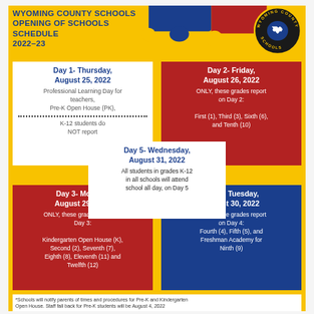WYOMING COUNTY SCHOOLS OPENING OF SCHOOLS SCHEDULE 2022–23
[Figure (logo): Wyoming County Schools circular logo with West Virginia state outline]
Day 1- Thursday, August 25, 2022
Professional Learning Day for teachers, Pre-K Open House (PK), K-12 students do NOT report
Day 2- Friday, August 26, 2022
ONLY, these grades report on Day 2: First (1), Third (3), Sixth (6), and Tenth (10)
Day 5- Wednesday, August 31, 2022
All students in grades K-12 in all schools will attend school all day, on Day 5
Day 3- Monday, August 29, 2022
ONLY, these grades report on Day 3: Kindergarten Open House (K), Second (2), Seventh (7), Eighth (8), Eleventh (11) and Twelfth (12)
Day 4- Tuesday, August 30, 2022
ONLY, these grades report on Day 4: Fourth (4), Fifth (5), and Freshman Academy for Ninth (9)
*Schools will notify parents of times and procedures for Pre-K and Kindergarten Open House. Staff fall back for Pre-K students will be August 4, 2022